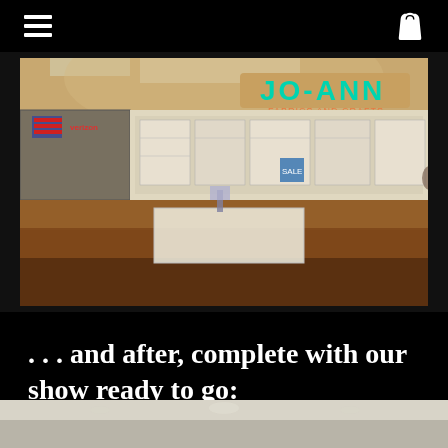Navigation menu and shopping bag icons
[Figure (photo): Interior of a mall showing the Jo-Ann Fabrics and Crafts store front with teal signage, adjacent stores including Verizon, brown flooring with a white mat/platform in the center foreground]
. . . and after, complete with our show ready to go:
[Figure (photo): Partial view of another photo, showing what appears to be a ceiling or interior space, cut off at the bottom of the page]